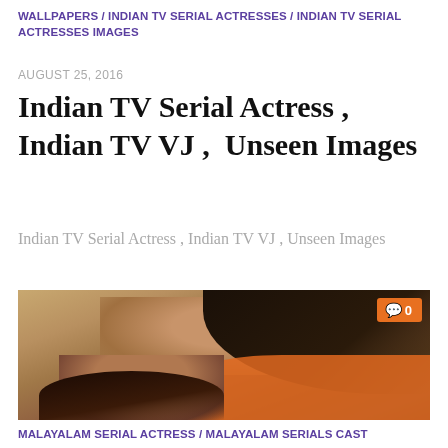WALLPAPERS / INDIAN TV SERIAL ACTRESSES / INDIAN TV SERIAL ACTRESSES IMAGES
AUGUST 25, 2016
Indian TV Serial Actress , Indian TV VJ , Unseen Images
Indian TV Serial Actress , Indian TV VJ , Unseen Images
[Figure (photo): A smiling young Indian woman with long dark hair and an orange top, with a small child in front of her. A comment badge showing '0' appears in the top-right corner of the image.]
MALAYALAM SERIAL ACTRESS / MALAYALAM SERIALS CAST